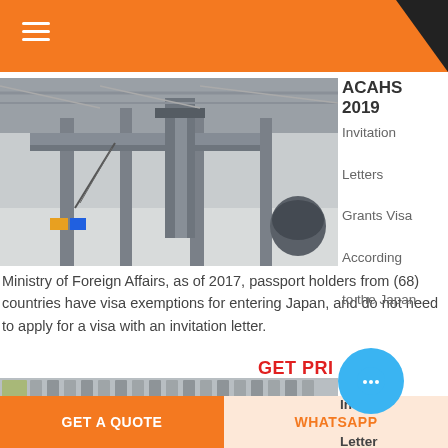[Figure (photo): Interior of a large industrial factory/warehouse with heavy steel structures, machinery, elevated platforms, and industrial equipment on a concrete floor.]
ACAHS 2019
Invitation Letters Grants Visa According to the Japan
Ministry of Foreign Affairs, as of 2017, passport holders from (68) countries have visa exemptions for entering Japan, and do not need to apply for a visa with an invitation letter.
GET PRI...
[Figure (photo): Close-up of industrial metal filter or structured packing material components arranged in rows.]
Invitation Letter
GET A QUOTE
WHATSAPP